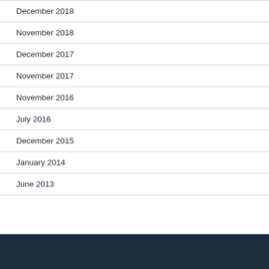December 2018
November 2018
December 2017
November 2017
November 2016
July 2016
December 2015
January 2014
June 2013